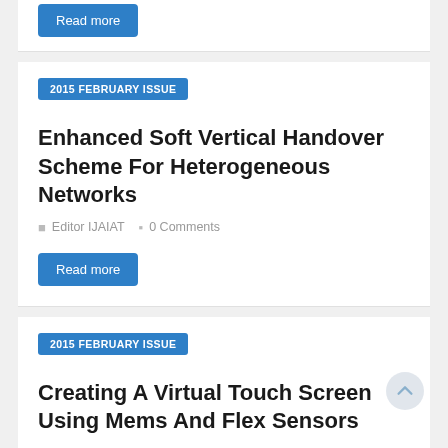[Figure (other): Read more button (blue) from previous article card, partially visible at top of page]
2015 FEBRUARY ISSUE
Enhanced Soft Vertical Handover Scheme For Heterogeneous Networks
Editor IJAIAT   0 Comments
Read more
2015 FEBRUARY ISSUE
Creating A Virtual Touch Screen Using Mems And Flex Sensors
Editor IJAIAT   0 Comments